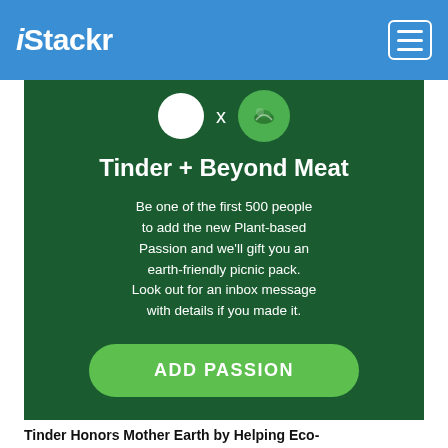iStackr
[Figure (infographic): Dark green promotional card for Tinder + Beyond Meat collaboration. Shows a white circle logo and green Beyond Meat logo with an X between them. Contains the heading 'Tinder + Beyond Meat', body text about being one of the first 500 people to add Plant-based Passion, and a green 'ADD PASSION' button.]
Tinder Honors Mother Earth by Helping Eco-